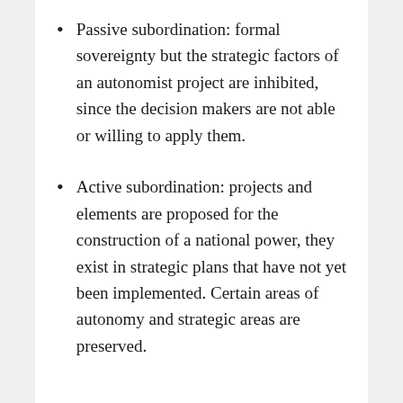Passive subordination: formal sovereignty but the strategic factors of an autonomist project are inhibited, since the decision makers are not able or willing to apply them.
Active subordination: projects and elements are proposed for the construction of a national power, they exist in strategic plans that have not yet been implemented. Certain areas of autonomy and strategic areas are preserved.
Pragmatic insubordination: political actors are mobilized in search of autonomy and the